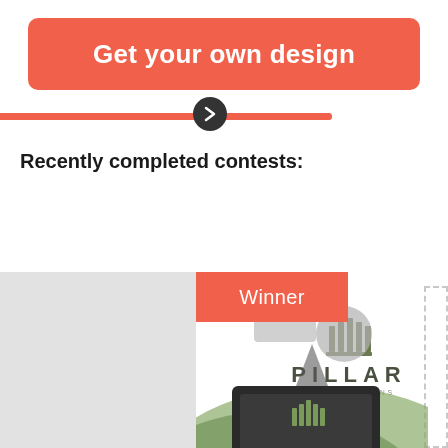[Figure (other): Red/coral rounded button with white bold text 'Get your own design']
Recently completed contests:
[Figure (illustration): Contest card showing 'Winner' badge in red, Pillar EHR Solutions logo with column icon above text, and green abstract illustration with a laptop at bottom. A grey sidebar is visible to the left and a dashed border box to the right.]